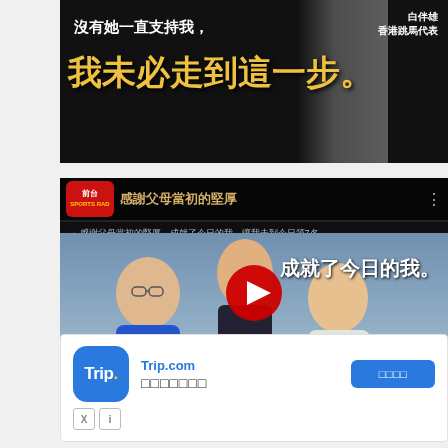[Figure (screenshot): Top banner ad with Chinese text: 沒有她一直支持我, 我未必走到這一步。 with a Hong Kong equestrian representative label in top right]
[Figure (screenshot): YouTube video thumbnail showing a young man with his parents and Chinese text: 感謝父母當初的堅厚，成就了今日的我。 with Hong Kong fencing representative label. Red YouTube play button overlay. Road to Tokyo badge in bottom right.]
[Figure (screenshot): Trip.com advertisement banner with Trip. logo, Chinese description text, and a blue call-to-action button with Chinese characters. X and info icons at the bottom left.]